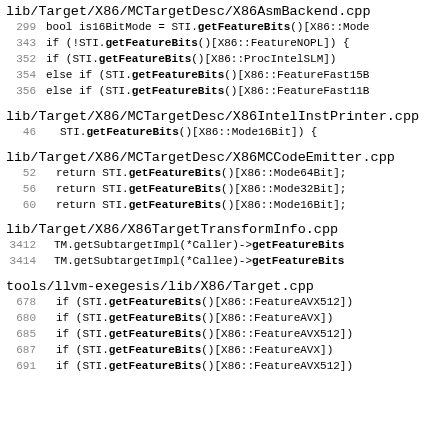lib/Target/X86/MCTargetDesc/X86AsmBackend.cpp
299  bool is16BitMode = STI.getFeatureBits()[X86::Mode
343  if (!STI.getFeatureBits()[X86::FeatureNOPL]) {
352  if (STI.getFeatureBits()[X86::ProcIntelSLM])
354  else if (STI.getFeatureBits()[X86::FeatureFast15B
356  else if (STI.getFeatureBits()[X86::FeatureFast11B
lib/Target/X86/MCTargetDesc/X86IntelInstPrinter.cpp
46   STI.getFeatureBits()[X86::Mode16Bit]) {
lib/Target/X86/MCTargetDesc/X86MCCodeEmitter.cpp
52   return STI.getFeatureBits()[X86::Mode64Bit];
56   return STI.getFeatureBits()[X86::Mode32Bit];
60   return STI.getFeatureBits()[X86::Mode16Bit];
lib/Target/X86/X86TargetTransformInfo.cpp
3412  TM.getSubtargetImpl(*Caller)->getFeatureBits
3414  TM.getSubtargetImpl(*Callee)->getFeatureBits
tools/llvm-exegesis/lib/X86/Target.cpp
678  if (STI.getFeatureBits()[X86::FeatureAVX512])
680  if (STI.getFeatureBits()[X86::FeatureAVX])
685  if (STI.getFeatureBits()[X86::FeatureAVX512])
687  if (STI.getFeatureBits()[X86::FeatureAVX])
691  if (STI.getFeatureBits()[X86::FeatureAVX512])